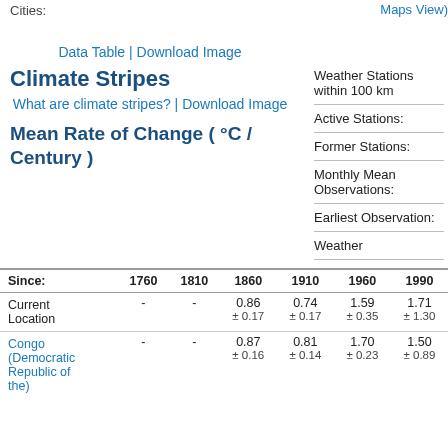Cities:
Maps View)
Data Table | Download Image
Climate Stripes
What are climate stripes? | Download Image
Mean Rate of Change ( °C / Century )
Weather Stations within 100 km
Active Stations:
Former Stations:
Monthly Mean Observations:
Earliest Observation:
Weather
| Since: | 1760 | 1810 | 1860 | 1910 | 1960 | 1990 |
| --- | --- | --- | --- | --- | --- | --- |
| Current Location | - | - | 0.86
±0.17 | 0.74
±0.17 | 1.59
±0.35 | 1.71
±1.30 |
| Congo (Democratic Republic of the) | - | - | 0.87
±0.16 | 0.81
±0.14 | 1.70
±0.23 | 1.50
±0.89 |